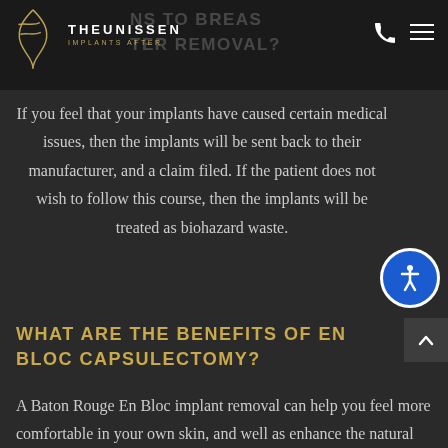THE UNISSEN IMPLANTS AFTER REMOVAL?
If you feel that your implants have caused certain medical issues, then the implants will be sent back to their manufacturer, and a claim filed. If the patient does not wish to follow this course, then the implants will be treated as biohazard waste.
WHAT ARE THE BENEFITS OF EN BLOC CAPSULECTOMY?
A Baton Rouge En Bloc implant removal can help you feel more comfortable in your own skin, and well as enhance the natural softness